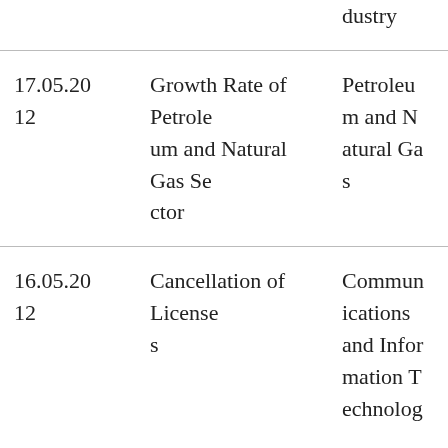|  |  | dustry |
| 17.05.2012 | Growth Rate of Petroleum and Natural Gas Sector | Petroleum and Natural Gas |
| 16.05.2012 | Cancellation of Licenses | Communications and Information Technology |